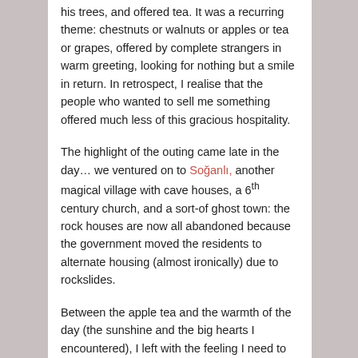his trees, and offered tea. It was a recurring theme: chestnuts or walnuts or apples or tea or grapes, offered by complete strangers in warm greeting, looking for nothing but a smile in return. In retrospect, I realise that the people who wanted to sell me something offered much less of this gracious hospitality.
The highlight of the outing came late in the day… we ventured on to Soğanlı, another magical village with cave houses, a 6th century church, and a sort-of ghost town: the rock houses are now all abandoned because the government moved the residents to alternate housing (almost ironically) due to rockslides.
Between the apple tea and the warmth of the day (the sunshine and the big hearts I encountered), I left with the feeling I need to come back here to explore the secrets this place holds.
Wrapping up the trip with some raki.